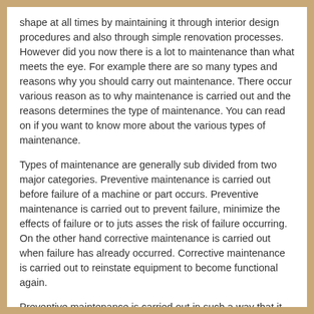shape at all times by maintaining it through interior design procedures and also through simple renovation processes. However did you now there is a lot to maintenance than what meets the eye. For example there are so many types and reasons why you should carry out maintenance. There occur various reason as to why maintenance is carried out and the reasons determines the type of maintenance. You can read on if you want to know more about the various types of maintenance.
Types of maintenance are generally sub divided from two major categories. Preventive maintenance is carried out before failure of a machine or part occurs. Preventive maintenance is carried out to prevent failure, minimize the effects of failure or to juts asses the risk of failure occurring. On the other hand corrective maintenance is carried out when failure has already occurred. Corrective maintenance is carried out to reinstate equipment to become functional again.
Preventive maintenance is carried out in such a way that it aims at replacing or restoring something into good working condition. The process is always best carried out by experts and it is sub divided into others categories. Some of these